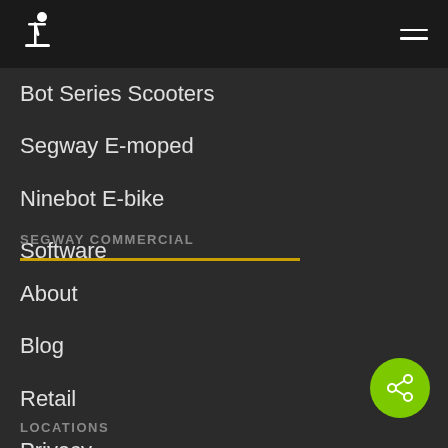Segway-Ninebot navigation header with logo and hamburger menu
Bot Series Scooters
Segway E-moped
Ninebot E-bike
Software
SEGWAY COMMERCIAL
About
Blog
Retail
Privacy
Terms and conditions
LOCATIONS